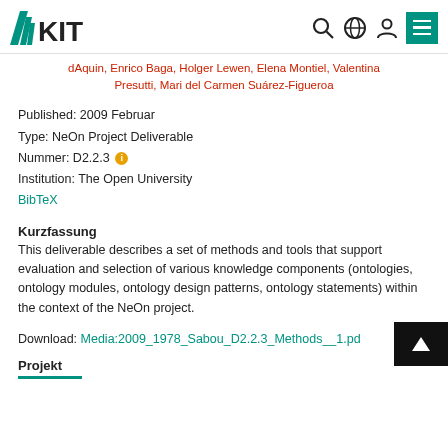KIT logo and navigation icons
dAquin, Enrico Baga, Holger Lewen, Elena Montiel, Valentina Presutti, Mari del Carmen Suárez-Figueroa
Published: 2009 Februar
Type: NeOn Project Deliverable
Nummer: D2.2.3
Institution: The Open University
BibTeX
Kurzfassung
This deliverable describes a set of methods and tools that support evaluation and selection of various knowledge components (ontologies, ontology modules, ontology design patterns, ontology statements) within the context of the NeOn project.
Download: Media:2009_1978_Sabou_D2.2.3_Methods__1.pd
Projekt